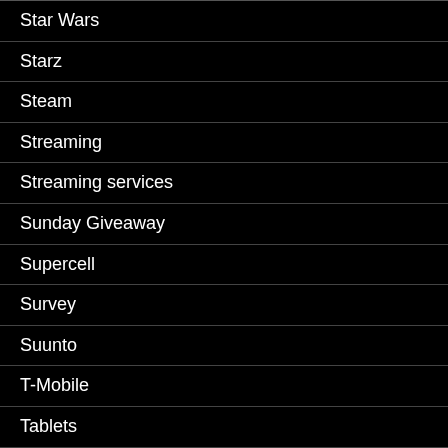Star Wars
Starz
Steam
Streaming
Streaming services
Sunday Giveaway
Supercell
Survey
Suunto
T-Mobile
Tablets
TCL